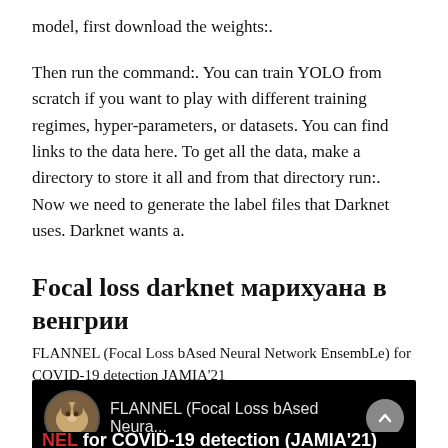model, first download the weights:.
Then run the command:. You can train YOLO from scratch if you want to play with different training regimes, hyper-parameters, or datasets. You can find links to the data here. To get all the data, make a directory to store it all and from that directory run:. Now we need to generate the label files that Darknet uses. Darknet wants a.
Focal loss darknet марихуана в венгрии
FLANNEL (Focal Loss bAsed Neural Network EnsembLe) for COVID-19 detection JAMIA'21
[Figure (screenshot): Dark-themed UI card showing a cat avatar icon, the text 'FLANNEL (Focal Loss bAsed Neura...' in gray, an up-chevron button, and a bold white/red banner reading 'NEL for COVID-19 detection (JAMIA'21)']